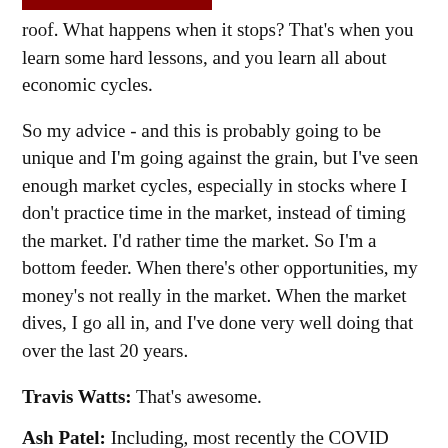roof. What happens when it stops? That's when you learn some hard lessons, and you learn all about economic cycles.
So my advice - and this is probably going to be unique and I'm going against the grain, but I've seen enough market cycles, especially in stocks where I don't practice time in the market, instead of timing the market. I'd rather time the market. So I'm a bottom feeder. When there's other opportunities, my money's not really in the market. When the market dives, I go all in, and I've done very well doing that over the last 20 years.
Travis Watts: That's awesome.
Ash Patel: Including, most recently the COVID